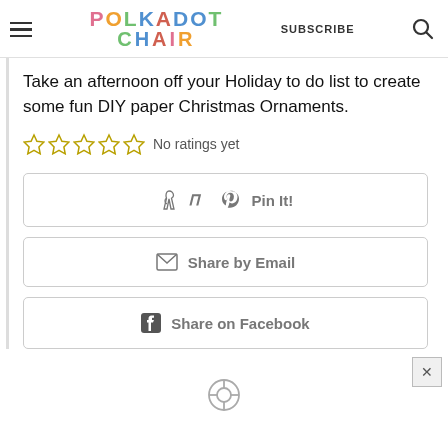POLKADOT CHAIR — SUBSCRIBE
Take an afternoon off your Holiday to do list to create some fun DIY paper Christmas Ornaments.
No ratings yet
Pin It!
Share by Email
Share on Facebook